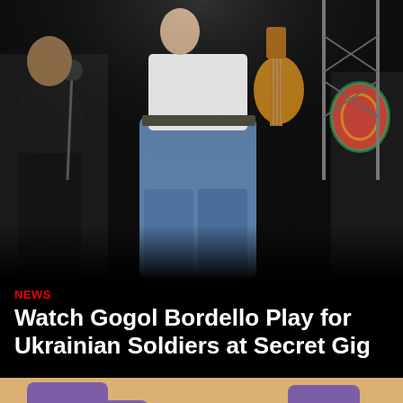[Figure (photo): Concert photo showing musicians on stage. Center figure wearing jeans and white shirt holding a guitar, other band members visible in background with stage equipment and lighting rigs.]
NEWS
Watch Gogol Bordello Play for Ukrainian Soldiers at Secret Gig
[Figure (illustration): Colorful illustration showing animated cartoon characters (people with dark skin tones) with purple speech bubbles floating around them, on an orange/tan background. A red scroll-to-top button is visible in the lower right corner.]